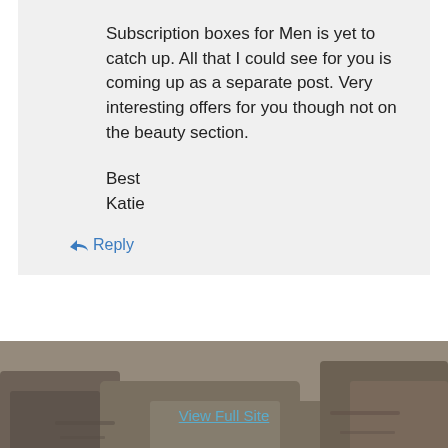Subscription boxes for Men is yet to catch up. All that I could see for you is coming up as a separate post. Very interesting offers for you though not on the beauty section.

Best
Katie
↳ Reply
[Figure (photo): Outdoor nature photo showing rocky cliffs and boulders with green vegetation and a stream/waterfall at the bottom. Blurry/out-of-focus background photo used as footer background.]
View Full Site
Blog at WordPress.com